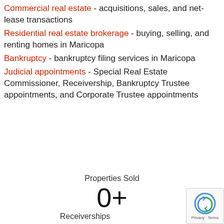Commercial real estate - acquisitions, sales, and net-lease transactions
Residential real estate brokerage - buying, selling, and renting homes in Maricopa
Bankruptcy - bankruptcy filing services in Maricopa
Judicial appointments - Special Real Estate Commissioner, Receivership, Bankruptcy Trustee appointments, and Corporate Trustee appointments
Properties Sold
0+
Receiverships